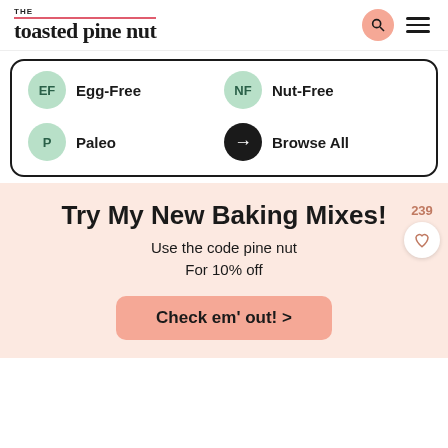THE toasted pine nut
EF Egg-Free | NF Nut-Free | P Paleo | → Browse All
Try My New Baking Mixes!
Use the code pine nut
For 10% off
Check em' out! >
239